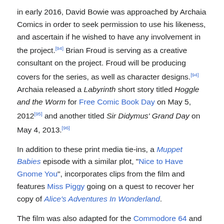in early 2016, David Bowie was approached by Archaia Comics in order to seek permission to use his likeness, and ascertain if he wished to have any involvement in the project.[94] Brian Froud is serving as a creative consultant on the project. Froud will be producing covers for the series, as well as character designs.[94] Archaia released a Labyrinth short story titled Hoggle and the Worm for Free Comic Book Day on May 5, 2012[95] and another titled Sir Didymus' Grand Day on May 4, 2013.[96]
In addition to these print media tie-ins, a Muppet Babies episode with a similar plot, "Nice to Have Gnome You", incorporates clips from the film and features Miss Piggy going on a quest to recover her copy of Alice's Adventures In Wonderland.
The film was also adapted for the Commodore 64 and Apple II home computers in 1986 as Labyrinth: The Computer Game. Different versions were also released in Japan the following year for the Family Computer console and MSX computer, under the title Labyrinth: Maō no Meikyū.[97]
Sequel